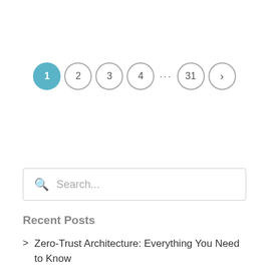[Figure (other): Pagination control showing page buttons: 1 (active/highlighted in blue), 2, 3, 4, ..., 31, and a next arrow (>)]
[Figure (other): Search input box with magnifying glass icon and placeholder text 'Search...']
Recent Posts
Zero-Trust Architecture: Everything You Need to Know
What the End of Internet Explorer